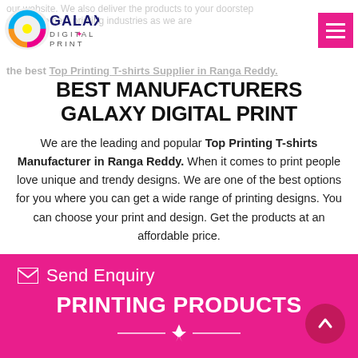Galaxy Digital Print website. We also deliver the products to your doorstep as one of the best printing industries as we are the best Top Printing T-shirts Supplier in Ranga Reddy.
BEST MANUFACTURERS GALAXY DIGITAL PRINT
We are the leading and popular Top Printing T-shirts Manufacturer in Ranga Reddy. When it comes to print people love unique and trendy designs. We are one of the best options for you where you can get a wide range of printing designs. You can choose your print and design. Get the products at an affordable price.
Read More
Send Enquiry
PRINTING PRODUCTS